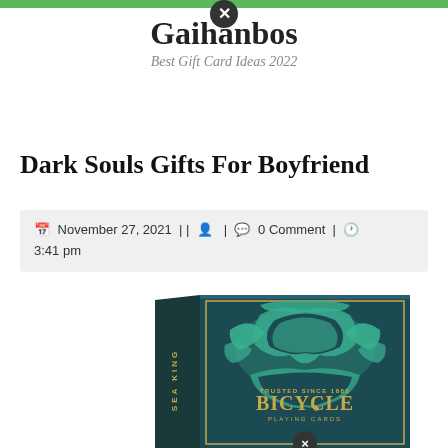Gaihanbos — Best Gift Card Ideas 2022
Dark Souls Gifts For Boyfriend
November 27, 2021 | | 0 Comment | 3:41 pm
[Figure (photo): Bicycle Sea King playing cards box, dark teal/navy background with ornate teal floral and bird design, gold lettering reading TRUSTED SINCE 1885 BICYCLE PLAYING CARDS]